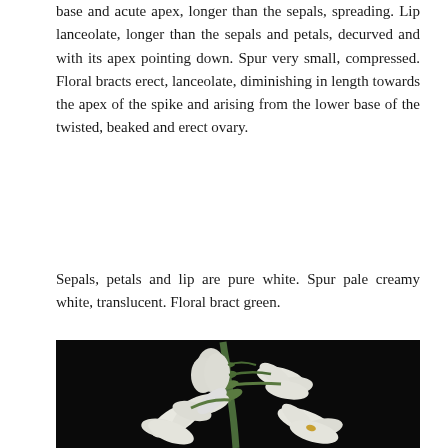base and acute apex, longer than the sepals, spreading. Lip lanceolate, longer than the sepals and petals, decurved and with its apex pointing down. Spur very small, compressed. Floral bracts erect, lanceolate, diminishing in length towards the apex of the spike and arising from the lower base of the twisted, beaked and erect ovary.
Sepals, petals and lip are pure white. Spur pale creamy white, translucent. Floral bract green.
[Figure (photo): Close-up photograph of white orchid flowers against a black background, showing multiple blooms on a spike with green bracts visible]